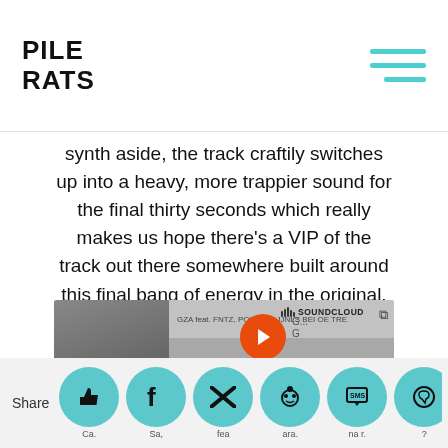PILE RATS
synth aside, the track craftily switches up into a heavy, more trappier sound for the final thirty seconds which really makes us hope there's a VIP of the track out there somewhere built around this final bang of energy in the original.
[Figure (screenshot): SoundCloud embedded player with orange 'Play on SoundCloud' button and 'Listen in browser' button. Shows 1.9M plays. Privacy policy link visible.]
Share
[Figure (infographic): Social sharing buttons row: thumbs up (Ca...), Facebook (Sa,), Twitter (fea), Reddit (ara.), SMS (na r.), WhatsApp (?), and crown icon (?)]